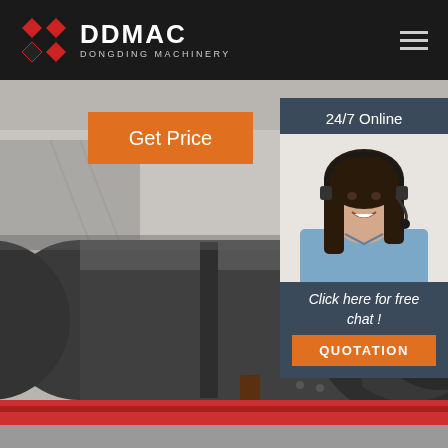[Figure (logo): DDMAC Dongding Machinery logo with red diamond grid icon and white text on black background, with hamburger menu icon on right]
[Figure (photo): Large industrial rotary drum/dryer machine photographed from the front-right angle, dark grey metal cylinder with red fan end visible, mounted on a transport vehicle, outdoor industrial setting]
Get Price
24/7 Online
[Figure (photo): Customer service agent - woman with dark hair wearing a headset and light blue shirt, smiling]
Click here for free chat !
QUOTATION